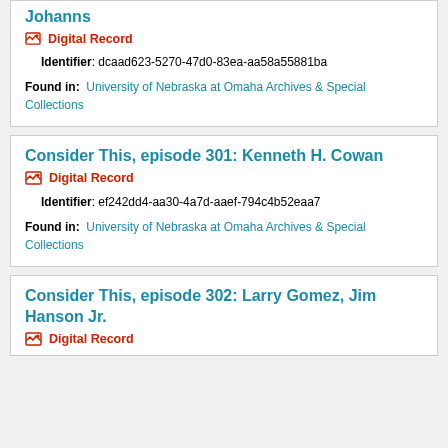Johanns
Digital Record
Identifier: dcaad623-5270-47d0-83ea-aa58a55881ba
Found in: University of Nebraska at Omaha Archives & Special Collections
Consider This, episode 301: Kenneth H. Cowan
Digital Record
Identifier: ef242dd4-aa30-4a7d-aaef-794c4b52eaa7
Found in: University of Nebraska at Omaha Archives & Special Collections
Consider This, episode 302: Larry Gomez, Jim Hanson Jr.
Digital Record